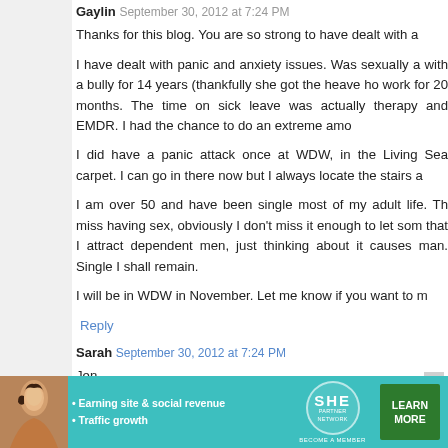Gaylin September 30, 2012 at 7:24 PM
Thanks for this blog. You are so strong to have dealt with a
I have dealt with panic and anxiety issues. Was sexually a with a bully for 14 years (thankfully she got the heave ho work for 20 months. The time on sick leave was actually therapy and EMDR. I had the chance to do an extreme amo
I did have a panic attack once at WDW, in the Living Sea carpet. I can go in there now but I always locate the stairs a
I am over 50 and have been single most of my adult life. Th miss having sex, obviously I don't miss it enough to let som that I attract dependent men, just thinking about it causes man. Single I shall remain.
I will be in WDW in November. Let me know if you want to m
Reply
Sarah September 30, 2012 at 7:24 PM
Jen, I wanted to thank you for telling your story. I too suffer from medical student and I wanted to be sure that yo pheochromocytoma. I imagine all of those things have
[Figure (infographic): SHE Partner Network advertisement banner with teal background, photo of woman, bullet points about earning site & social revenue and traffic growth, SHE logo, and Learn More green button]